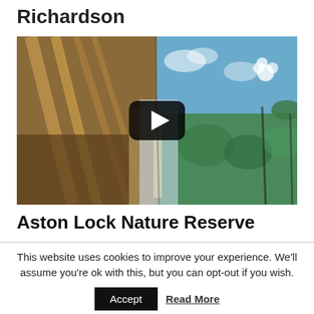Richardson
[Figure (screenshot): Video thumbnail showing interior of a narrowboat with wooden beams and a painted mural ceiling on the right side, with a YouTube-style play button overlay]
Aston Lock Nature Reserve
This website uses cookies to improve your experience. We'll assume you're ok with this, but you can opt-out if you wish.
Accept   Read More